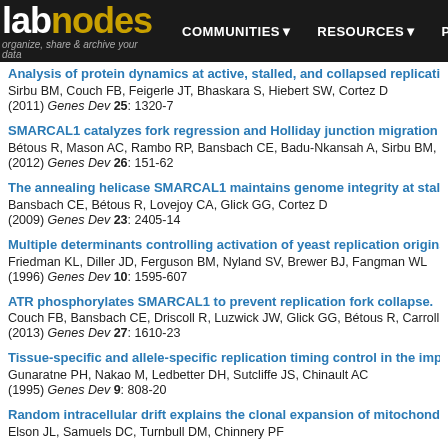labnodes — organize, share & archive your data | COMMUNITIES | RESOURCES | PEOPLE
Analysis of protein dynamics at active, stalled, and collapsed replication fo...
Sirbu BM, Couch FB, Feigerle JT, Bhaskara S, Hiebert SW, Cortez D
(2011) Genes Dev 25: 1320-7
SMARCAL1 catalyzes fork regression and Holliday junction migration to ma...
Bétous R, Mason AC, Rambo RP, Bansbach CE, Badu-Nkansah A, Sirbu BM, Ei...
(2012) Genes Dev 26: 151-62
The annealing helicase SMARCAL1 maintains genome integrity at stalled re...
Bansbach CE, Bétous R, Lovejoy CA, Glick GG, Cortez D
(2009) Genes Dev 23: 2405-14
Multiple determinants controlling activation of yeast replication origins late...
Friedman KL, Diller JD, Ferguson BM, Nyland SV, Brewer BJ, Fangman WL
(1996) Genes Dev 10: 1595-607
ATR phosphorylates SMARCAL1 to prevent replication fork collapse.
Couch FB, Bansbach CE, Driscoll R, Luzwick JW, Glick GG, Bétous R, Carroll C...
(2013) Genes Dev 27: 1610-23
Tissue-specific and allele-specific replication timing control in the imprinte...
Gunaratne PH, Nakao M, Ledbetter DH, Sutcliffe JS, Chinault AC
(1995) Genes Dev 9: 808-20
Random intracellular drift explains the clonal expansion of mitochondrial D...
Elson JL, Samuels DC, Turnbull DM, Chinnery PF